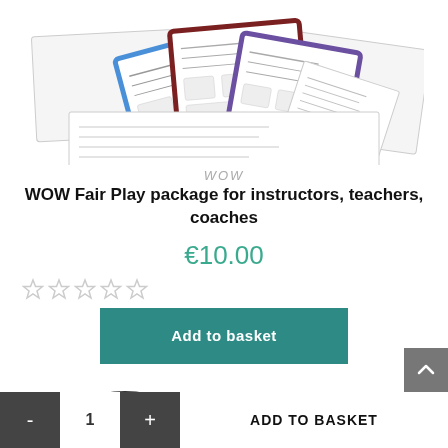[Figure (photo): Product image showing colorful worksheets and activity cards with clipboard-like colored borders fanned out]
WOW
WOW Fair Play package for instructors, teachers, coaches
€10.00
[Figure (illustration): Five empty star rating icons in grey]
Add to basket
[Figure (illustration): Cartoon illustration of character saying WOW with speech bubble]
- 1 + ADD TO BASKET